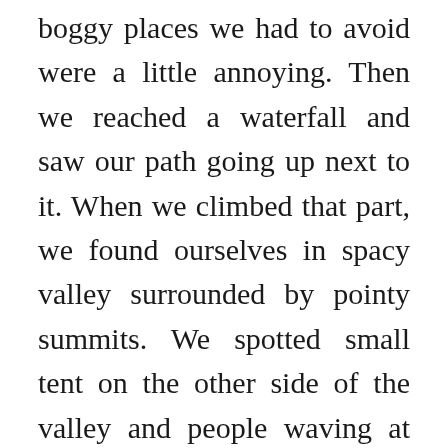boggy places we had to avoid were a little annoying. Then we reached a waterfall and saw our path going up next to it. When we climbed that part, we found ourselves in spacy valley surrounded by pointy summits. We spotted small tent on the other side of the valley and people waving at us. We waved back and continued towards the steepest part. We were trying to ascend slowly and steady to avoid the risk of altitude sickness. Unpredictable weather and altitude sickness were both things we were